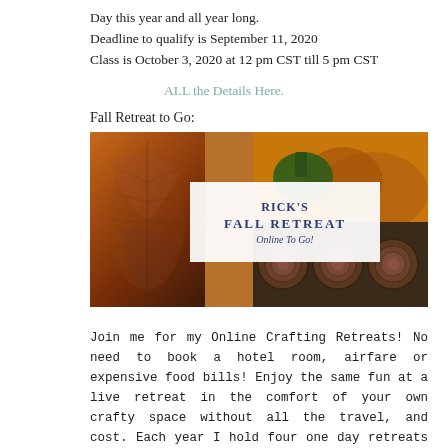Day this year and all year long.
Deadline to qualify is September 11, 2020
Class is October 3, 2020 at 12 pm CST till 5 pm CST
ALL the Details Here.
Fall Retreat to Go:
[Figure (photo): Rick's Fall Retreat Online To Go! banner image with autumn collage featuring fall foliage, pumpkins, and stacked logs, with a white card overlay showing the retreat title.]
Join me for my Online Crafting Retreats!  No need to book a hotel room, airfare or expensive food bills!  Enjoy the same fun at a live retreat in the comfort of your own crafty space without all the travel, and cost.  Each year I hold four one day retreats online (during Spring, Summer, Fall, & Winter) featuring new products from one of the current Stampin' Up! Catalogs.